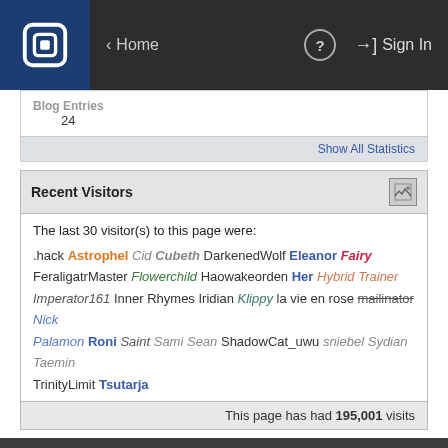Home | Sign In
Blog Entries
24
Show All Statistics
Recent Visitors
The last 30 visitor(s) to this page were:
.hack Astrophel Cid Cubeth DarkenedWolf Eleanor Fairy FeraligatrMaster Flowerchild Haowakeorden Her Hybrid Trainer Imperator161 Inner Rhymes Iridian Klippy la vie en rose mailinator Nick Palamon Roni Saint Sami Sean ShadowCat_uwu sniebel Sydian Taemin TrinityLimit Tsutarja
This page has had 195,001 visits
The PokéCommunity — Working on a better slogan, 19 years and counting!
DISPLAY OPTIONS
The Johto Elite